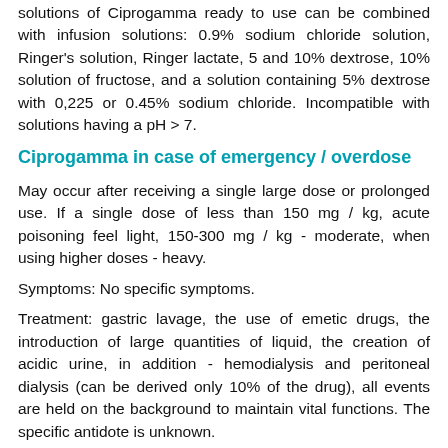solutions of Ciprogamma ready to use can be combined with infusion solutions: 0.9% sodium chloride solution, Ringer's solution, Ringer lactate, 5 and 10% dextrose, 10% solution of fructose, and a solution containing 5% dextrose with 0,225 or 0.45% sodium chloride. Incompatible with solutions having a pH > 7.
Ciprogamma in case of emergency / overdose
May occur after receiving a single large dose or prolonged use. If a single dose of less than 150 mg / kg, acute poisoning feel light, 150-300 mg / kg - moderate, when using higher doses - heavy.
Symptoms: No specific symptoms.
Treatment: gastric lavage, the use of emetic drugs, the introduction of large quantities of liquid, the creation of acidic urine, in addition - hemodialysis and peritoneal dialysis (can be derived only 10% of the drug), all events are held on the background to maintain vital functions. The specific antidote is unknown.